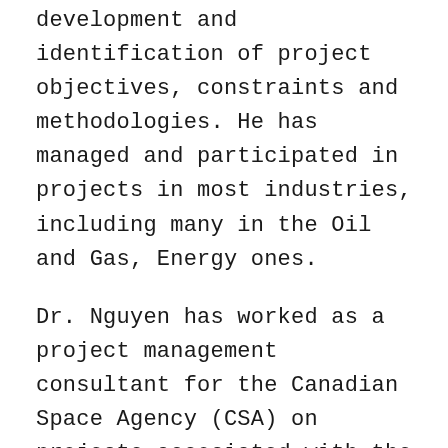development and identification of project objectives, constraints and methodologies. He has managed and participated in projects in most industries, including many in the Oil and Gas, Energy ones.
Dr. Nguyen has worked as a project management consultant for the Canadian Space Agency (CSA) on projects associated with the International Space Station (ISS) program, the 16-nation effort led by NASA to build the permanently orbiting laboratory in space, the largest and most sophisticated international engineering project ever undertaken in the history of the world as well